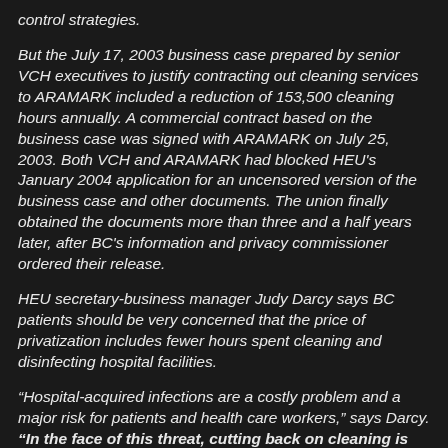control strategies.
But the July 17, 2003 business case prepared by senior VCH executives to justify contracting out cleaning services to ARAMARK included a reduction of 153,500 cleaning hours annually. A commercial contract based on the business case was signed with ARAMARK on July 25, 2003. Both VCH and ARAMARK had blocked HEU's January 2004 application for an uncensored version of the business case and other documents. The union finally obtained the documents more than three and a half years later, after BC's information and privacy commissioner ordered their release.
HEU secretary-business manager Judy Darcy says BC patients should be very concerned that the price of privatization includes fewer hours spent cleaning and disinfecting hospital facilities.
“Hospital-acquired infections are a costly problem and a major risk for patients and health care workers,” says Darcy. “In the face of this threat, cutting back on cleaning is reckless”